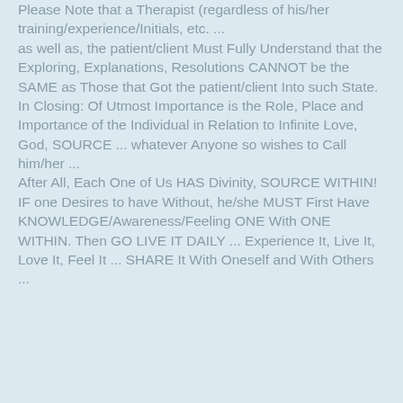Please Note that a Therapist (regardless of his/her training/experience/Initials, etc. ... as well as, the patient/client Must Fully Understand that the Exploring, Explanations, Resolutions CANNOT be the SAME as Those that Got the patient/client Into such State. In Closing: Of Utmost Importance is the Role, Place and Importance of the Individual in Relation to Infinite Love, God, SOURCE ... whatever Anyone so wishes to Call him/her ... After All, Each One of Us HAS Divinity, SOURCE WITHIN! IF one Desires to have Without, he/she MUST First Have KNOWLEDGE/Awareness/Feeling ONE With ONE WITHIN. Then GO LIVE IT DAILY ... Experience It, Live It, Love It, Feel It ... SHARE It With Oneself and With Others ...